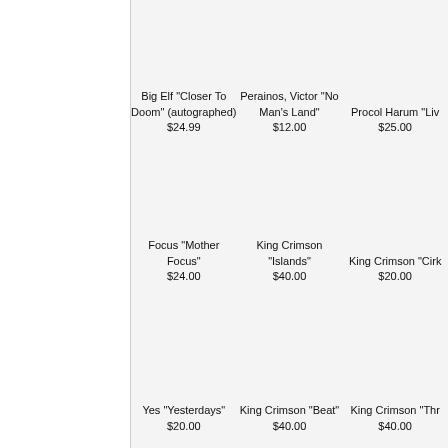Big Elf "Closer To Doom" (autographed)
$24.99
Perainos, Victor "No Man's Land"
$12.00
Procol Harum "Liv...
$25.00
Focus "Mother Focus"
$24.00
King Crimson "Islands"
$40.00
King Crimson "Cirk...
$20.00
Yes "Yesterdays"
$20.00
King Crimson "Beat"
$40.00
King Crimson "Thr...
$40.00